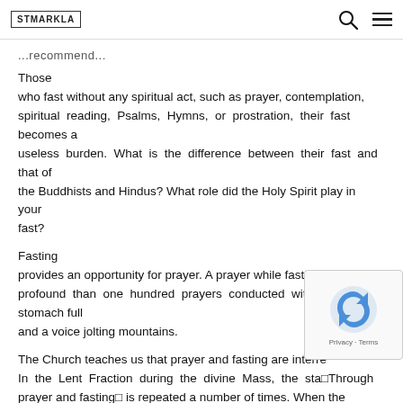STMARKLA
...recommend...
Those who fast without any spiritual act, such as prayer, contemplation, spiritual reading, Psalms, Hymns, or prostration, their fast becomes a useless burden. What is the difference between their fast and that of the Buddhists and Hindus? What role did the Holy Spirit play in your fast?
Fasting provides an opportunity for prayer. A prayer while fasting is more profound than one hundred prayers conducted with a full stomach full and a voice jolting mountains.
The Church teaches us that prayer and fasting are interre... In the Lent Fraction during the divine Mass, the sta... □Through prayer and fasting□ is repeated a number of times. When the